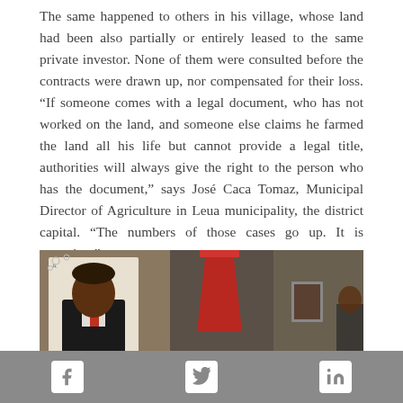The same happened to others in his village, whose land had been also partially or entirely leased to the same private investor. None of them were consulted before the contracts were drawn up, nor compensated for their loss. “If someone comes with a legal document, who has not worked on the land, and someone else claims he farmed the land all his life but cannot provide a legal title, authorities will always give the right to the person who has the document,” says José Caca Tomaz, Municipal Director of Agriculture in Leua municipality, the district capital. “The numbers of those cases go up. It is worrying.”
[Figure (photo): Interior photo showing a man in a suit on a poster on a wall, a red container in the center, and other objects against a stone/mud wall]
Facebook | Twitter | LinkedIn social share icons